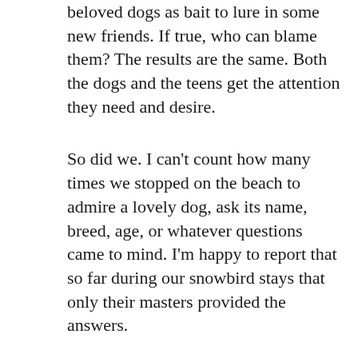beloved dogs as bait to lure in some new friends. If true, who can blame them? The results are the same. Both the dogs and the teens get the attention they need and desire.
So did we. I can't count how many times we stopped on the beach to admire a lovely dog, ask its name, breed, age, or whatever questions came to mind. I'm happy to report that so far during our snowbird stays that only their masters provided the answers.
[Figure (photo): A beach scene showing ocean waves and sandy shore in muted grey-blue tones]